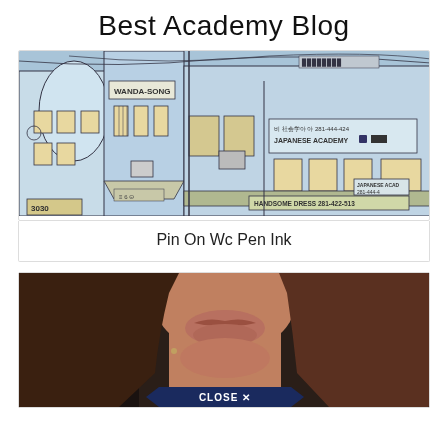Best Academy Blog
[Figure (illustration): Urban street scene illustration in blue ink wash style showing a row of Asian shophouses/buildings with signs including 'WANDA-SONG', 'JAPANESE ACADEMY 281-444-424', 'HANDSOME DRESS 281-422-513', and '3030'. Buildings have windows, AC units, awnings, and various details.]
Pin On Wc Pen Ink
[Figure (photo): Close-up photo of a woman's lower face and neck, with long brown hair. In the background are other people. A dark blue 'CLOSE X' button appears at the bottom of the image.]